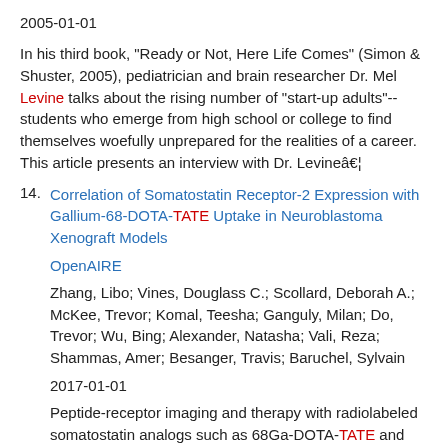2005-01-01
In his third book, "Ready or Not, Here Life Comes" (Simon & Shuster, 2005), pediatrician and brain researcher Dr. Mel Levine talks about the rising number of "start-up adults"--students who emerge from high school or college to find themselves woefully unprepared for the realities of a career. This article presents an interview with Dr. Levine…
14. Correlation of Somatostatin Receptor-2 Expression with Gallium-68-DOTA-TATE Uptake in Neuroblastoma Xenograft Models
OpenAIRE
Zhang, Libo; Vines, Douglass C.; Scollard, Deborah A.; McKee, Trevor; Komal, Teesha; Ganguly, Milan; Do, Trevor; Wu, Bing; Alexander, Natasha; Vali, Reza; Shammas, Amer; Besanger, Travis; Baruchel, Sylvain
2017-01-01
Peptide-receptor imaging and therapy with radiolabeled somatostatin analogs such as 68Ga-DOTA-TATE and 177Lu-